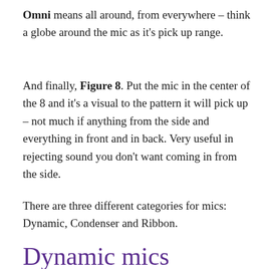Omni means all around, from everywhere – think a globe around the mic as it's pick up range.
And finally, Figure 8. Put the mic in the center of the 8 and it's a visual to the pattern it will pick up – not much if anything from the side and everything in front and in back. Very useful in rejecting sound you don't want coming in from the side.
There are three different categories for mics: Dynamic, Condenser and Ribbon.
Dynamic mics